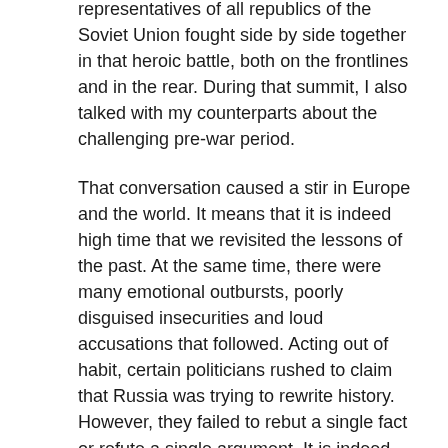representatives of all republics of the Soviet Union fought side by side together in that heroic battle, both on the frontlines and in the rear. During that summit, I also talked with my counterparts about the challenging pre-war period.
That conversation caused a stir in Europe and the world. It means that it is indeed high time that we revisited the lessons of the past. At the same time, there were many emotional outbursts, poorly disguised insecurities and loud accusations that followed. Acting out of habit, certain politicians rushed to claim that Russia was trying to rewrite history. However, they failed to rebut a single fact or refute a single argument. It is indeed difficult, if not impossible, to argue with the original documents that, by the way, can be found not only in Russian, but also in foreign archives.
Thus, there is a need to further examine the reasons that caused the world war and reflect on its complicated events, tragedies and victories, as well as its lessons, both for our country and the entire world. And like I said, it is crucial to rely exclusively on archive documents and contemporary